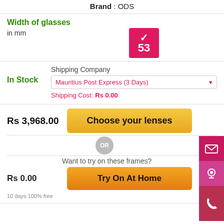Brand : ODS
Width of glasses
in mm
[Figure (other): Pink/magenta square button with checkmark and number 53 selected]
In Stock
Shipping Company
Mauritius Post Express (3 Days) ▾
Shipping Cost: Rs 0.00
Rs 3,968.00
Choose your lenses
OR
Want to try on these frames?
Rs 0.00
Try On At Home
10 days 100% free